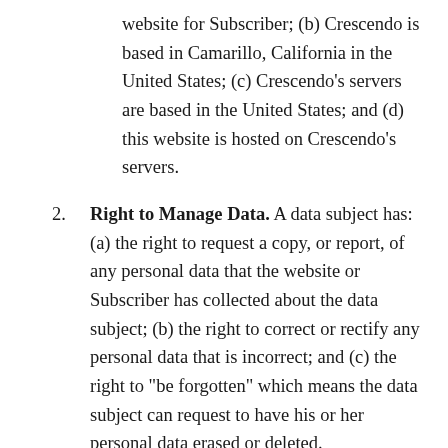website for Subscriber; (b) Crescendo is based in Camarillo, California in the United States; (c) Crescendo's servers are based in the United States; and (d) this website is hosted on Crescendo's servers.
2. Right to Manage Data. A data subject has: (a) the right to request a copy, or report, of any personal data that the website or Subscriber has collected about the data subject; (b) the right to correct or rectify any personal data that is incorrect; and (c) the right to "be forgotten" which means the data subject can request to have his or her personal data erased or deleted.
3. Right to Object. A data subject has the right to object to, and restrict the